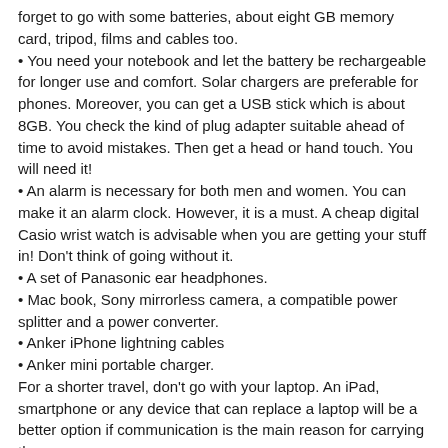forget to go with some batteries, about eight GB memory card, tripod, films and cables too.
• You need your notebook and let the battery be rechargeable for longer use and comfort. Solar chargers are preferable for phones. Moreover, you can get a USB stick which is about 8GB. You check the kind of plug adapter suitable ahead of time to avoid mistakes. Then get a head or hand touch. You will need it!
• An alarm is necessary for both men and women. You can make it an alarm clock. However, it is a must. A cheap digital Casio wrist watch is advisable when you are getting your stuff in! Don't think of going without it.
• A set of Panasonic ear headphones.
• Mac book, Sony mirrorless camera, a compatible power splitter and a power converter.
• Anker iPhone lightning cables
• Anker mini portable charger.
For a shorter travel, don't go with your laptop. An iPad, smartphone or any device that can replace a laptop will be a better option if communication is the main reason for carrying them.
EATING UTENSILS-
Consider going with the following utensils which can cut into your wallet if you are traveling without them. Brew your coffee, take a